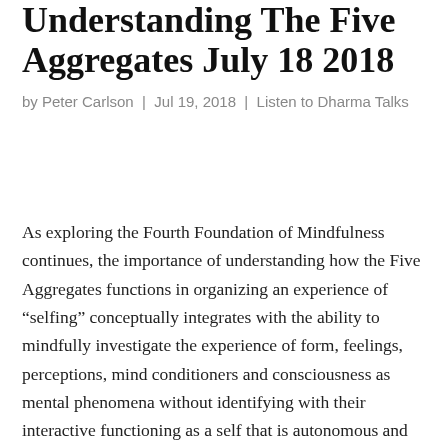Understanding The Five Aggregates July 18 2018
by Peter Carlson | Jul 19, 2018 | Listen to Dharma Talks
As exploring the Fourth Foundation of Mindfulness continues, the importance of understanding how the Five Aggregates functions in organizing an experience of “selfing” conceptually integrates with the ability to mindfully investigate the experience of form, feelings, perceptions, mind conditioners and consciousness as mental phenomena without identifying with their interactive functioning as a self that is autonomous and enduring.  During the talk, the 52 mental conditioners called cetasikas were described categorically as Universal, Occasional, Unwholesome and Wholesome (with the addition of feelings and perceptions on the list).  Peter used the